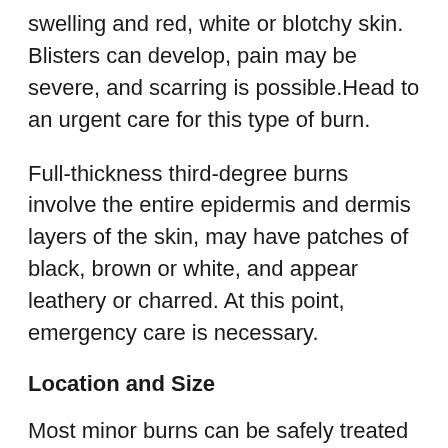swelling and red, white or blotchy skin. Blisters can develop, pain may be severe, and scarring is possible.Head to an urgent care for this type of burn.
Full-thickness third-degree burns involve the entire epidermis and dermis layers of the skin, may have patches of black, brown or white, and appear leathery or charred. At this point, emergency care is necessary.
Location and Size
Most minor burns can be safely treated at our urgent care center. However, any burn involving the face